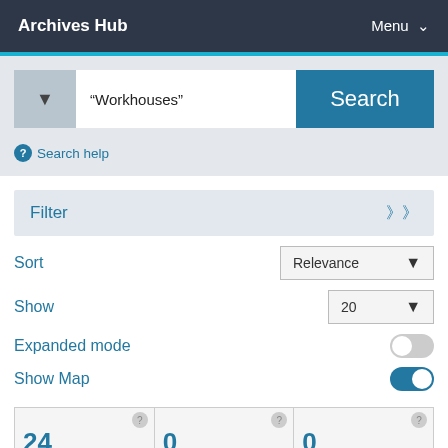Archives Hub   Menu
[Figure (screenshot): Search bar with dropdown arrow, text input showing "Workhouses", and a blue Search button]
Search help
Filter
Sort    Relevance
Show    20
Expanded mode
Show Map
24    0    0